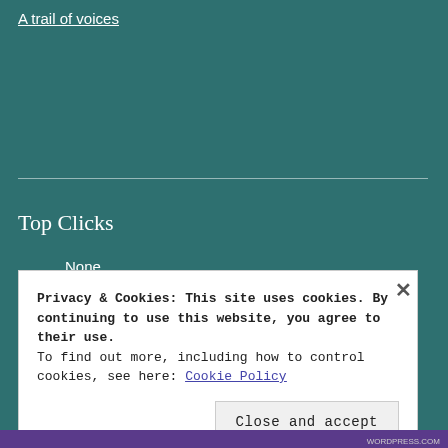A trail of voices
Top Clicks
None
Privacy & Cookies: This site uses cookies. By continuing to use this website, you agree to their use.
To find out more, including how to control cookies, see here: Cookie Policy
Close and accept